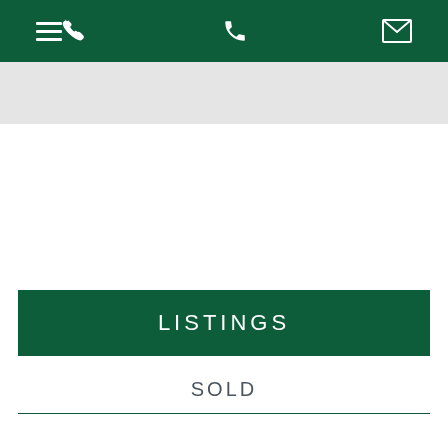Navigation bar with hamburger menu, phone, and email icons
[Figure (screenshot): Light gray search bar area below navigation]
LISTINGS
SOLD